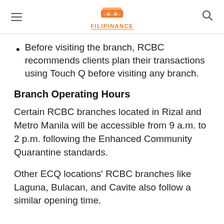FILIPINANCE
Before visiting the branch, RCBC recommends clients plan their transactions using Touch Q before visiting any branch.
Branch Operating Hours
Certain RCBC branches located in Rizal and Metro Manila will be accessible from 9 a.m. to 2 p.m. following the Enhanced Community Quarantine standards.
Other ECQ locations’ RCBC branches like Laguna, Bulacan, and Cavite also follow a similar opening time.